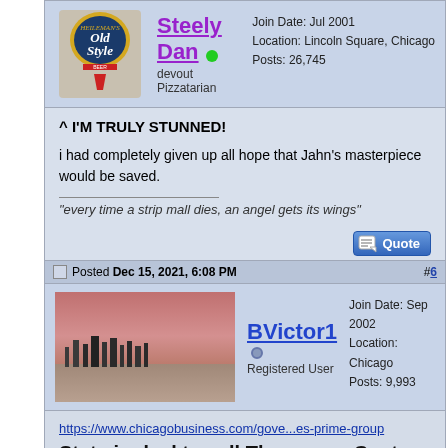Posted Dec 15, 2021, 6:08 PM  #5 (implicit top post)
Steely Dan | devout Pizzatarian | Join Date: Jul 2001 | Location: Lincoln Square, Chicago | Posts: 26,745
^ I'M TRULY STUNNED!

i had completely given up all hope that Jahn's masterpiece would be saved.
"every time a strip mall dies, an angel gets its wings"
Posted Dec 15, 2021, 6:08 PM  #6
BVictor1 | Registered User | Join Date: Sep 2002 | Location: Chicago | Posts: 9,993
https://www.chicagobusiness.com/gove...es-prime-group
State in deal to sell Thompson Center